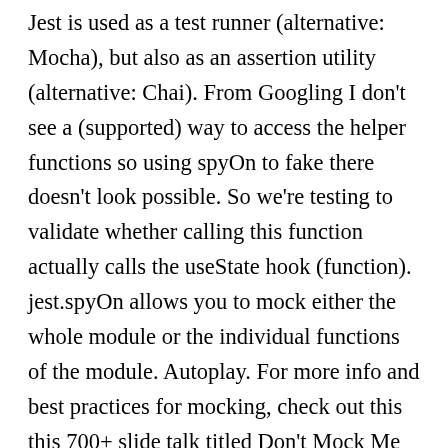Jest is used as a test runner (alternative: Mocha), but also as an assertion utility (alternative: Chai). From Googling I don't see a (supported) way to access the helper functions so using spyOn to fake there doesn't look possible. So we're testing to validate whether calling this function actually calls the useState hook (function). jest.spyOn allows you to mock either the whole module or the individual functions of the module. Autoplay. For more info and best practices for mocking, check out this this 700+ slide talk titled Don't Mock Me by Justin Searls . Sometimes you only want to watch a method be called, but keep the original implementation. If the code we are testing is